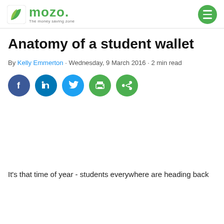mozo - The money saving zone
Anatomy of a student wallet
By Kelly Emmerton · Wednesday, 9 March 2016 · 2 min read
[Figure (infographic): Social sharing icons: Facebook, LinkedIn, Twitter, Print, Share]
It's that time of year - students everywhere are heading back